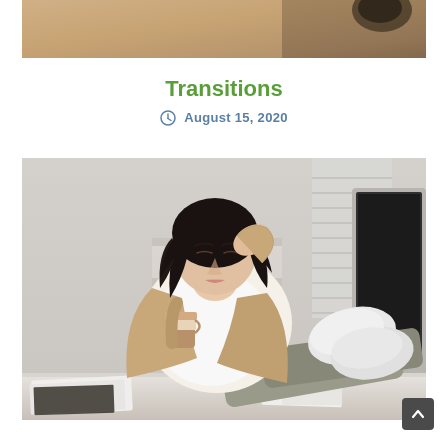[Figure (photo): Top portion of an image showing a warm-toned office or room background with blurred elements]
Transitions
August 15, 2020
[Figure (photo): A woman with dark hair relaxing at her office desk, leaning back with her feet up on the desk, holding a coffee cup, with a computer monitor visible on the right and office furniture in the background]